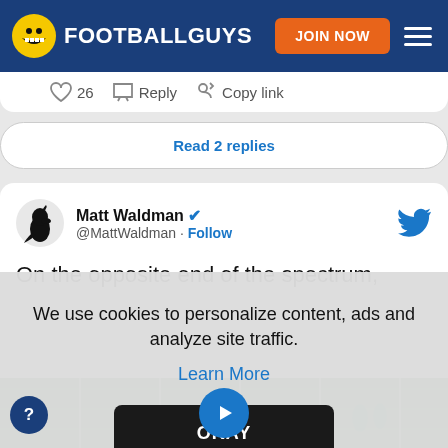FOOTBALLGUYS — JOIN NOW
26  Reply  Copy link
Read 2 replies
Matt Waldman @MattWaldman · Follow
On the opposite end of the spectrum,
We use cookies to personalize content, ads and analyze site traffic.
Learn More
OKAY